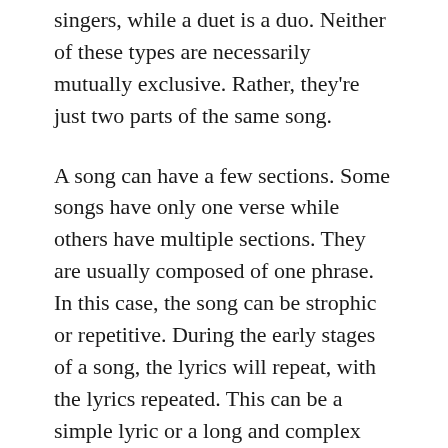singers, while a duet is a duo. Neither of these types are necessarily mutually exclusive. Rather, they're just two parts of the same song.
A song can have a few sections. Some songs have only one verse while others have multiple sections. They are usually composed of one phrase. In this case, the song can be strophic or repetitive. During the early stages of a song, the lyrics will repeat, with the lyrics repeated. This can be a simple lyric or a long and complex instrumental section. When a verse ends, a new chord will be added to the middle.
November 23, 2021  /  Uncategorized